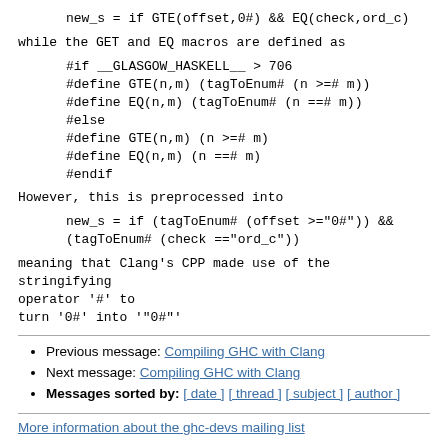new_s = if GTE(offset,0#) && EQ(check,ord_c)
while the GET and EQ macros are defined as
#if __GLASGOW_HASKELL__ > 706
#define GTE(n,m) (tagToEnum# (n >=# m))
#define EQ(n,m) (tagToEnum# (n ==# m))
#else
#define GTE(n,m) (n >=# m)
#define EQ(n,m) (n ==# m)
#endif
However, this is preprocessed into
new_s = if (tagToEnum# (offset >="0#")) &&
(tagToEnum# (check =="ord_c"))
meaning that Clang's CPP made use of the stringifying operator '#' to
turn '0#' into '"0#"'
Previous message: Compiling GHC with Clang
Next message: Compiling GHC with Clang
Messages sorted by: [ date ] [ thread ] [ subject ] [ author ]
More information about the ghc-devs mailing list